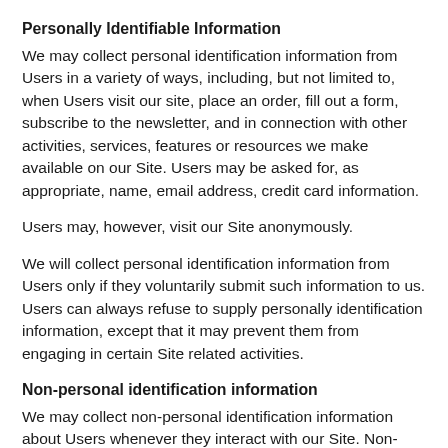Personally Identifiable Information
We may collect personal identification information from Users in a variety of ways, including, but not limited to, when Users visit our site, place an order, fill out a form, subscribe to the newsletter, and in connection with other activities, services, features or resources we make available on our Site. Users may be asked for, as appropriate, name, email address, credit card information.
Users may, however, visit our Site anonymously.
We will collect personal identification information from Users only if they voluntarily submit such information to us. Users can always refuse to supply personally identification information, except that it may prevent them from engaging in certain Site related activities.
Non-personal identification information
We may collect non-personal identification information about Users whenever they interact with our Site. Non-